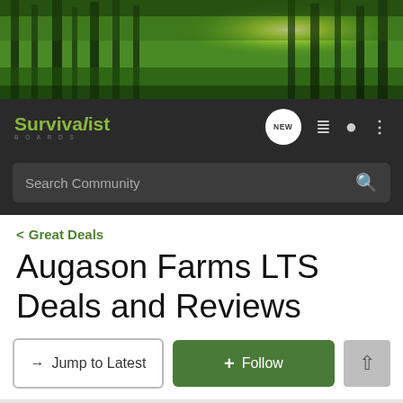[Figure (photo): Forest panorama header image with sunlight streaming through tall green trees]
Survivalist Boards — navigation bar with NEW, list, user, and menu icons
Search Community
< Great Deals
Augason Farms LTS Deals and Reviews
→ Jump to Latest
+ Follow
1 - 20 of 299 Posts   1 of 15  ▶  ⏭